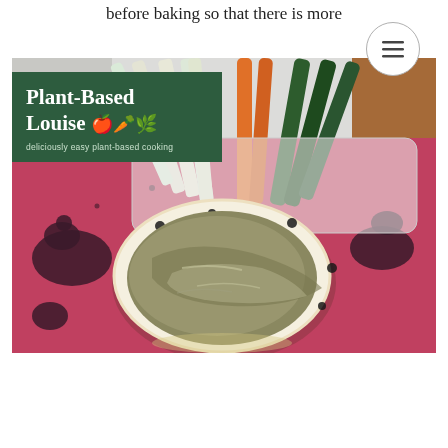before baking so that there is more
[Figure (photo): Overhead photo of a bowl of olive-green hummus/dip in a white bowl with black dots, surrounded by vegetable sticks (carrots, cucumber, celery/white radish) fanned out behind it on a pink/red mat with dark decorative splotches. The 'Plant-Based Louise' logo overlays the top-left corner of the image.]
Plant-Based Louise 🍎🥕🌿 — deliciously easy plant-based cooking